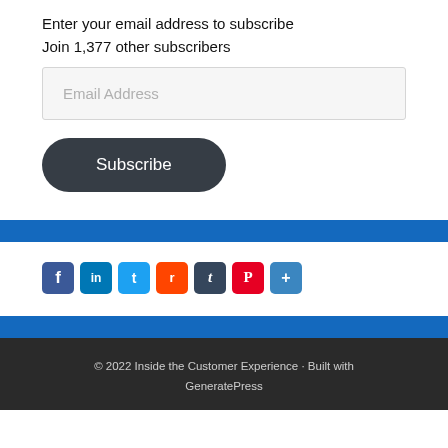Enter your email address to subscribe
Join 1,377 other subscribers
[Figure (other): Email Address input field (text box)]
[Figure (other): Subscribe button (dark rounded rectangle)]
[Figure (other): Social share icons: Facebook, LinkedIn, Twitter, Reddit, Tumblr, Pinterest, Share]
© 2022 Inside the Customer Experience · Built with GeneratePress